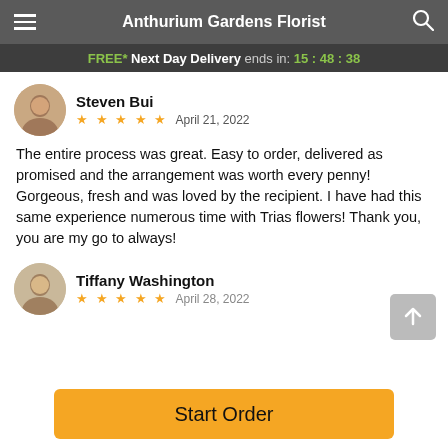Anthurium Gardens Florist
FREE* Next Day Delivery ends in: 15:48:38
Steven Bui
★★★★★  April 21, 2022
The entire process was great. Easy to order, delivered as promised and the arrangement was worth every penny! Gorgeous, fresh and was loved by the recipient. I have had this same experience numerous time with Trias flowers! Thank you, you are my go to always!
Tiffany Washington
★★★★★  April 28, 2022
Start Order